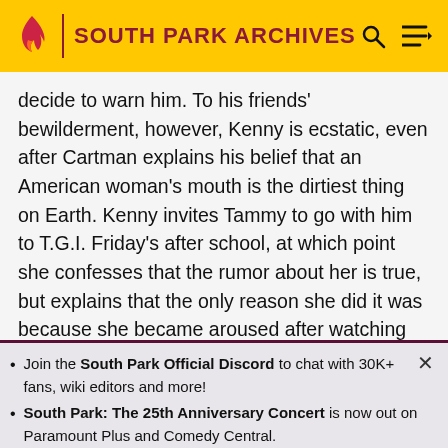SOUTH PARK ARCHIVES
decide to warn him. To his friends' bewilderment, however, Kenny is ecstatic, even after Cartman explains his belief that an American woman's mouth is the dirtiest thing on Earth. Kenny invites Tammy to go with him to T.G.I. Friday's after school, at which point she confesses that the rumor about her is true, but explains that the only reason she did it was because she became aroused after watching the Jonas Brothers perform. Consequently, Kenny takes Tammy to a Jonas Brothers concert, with his friends disgusted by his intent. At the concert, many girls rave about the famous trio, while Kenny seems to be
Join the South Park Official Discord to chat with 30K+ fans, wiki editors and more!
South Park: The 25th Anniversary Concert is now out on Paramount Plus and Comedy Central.